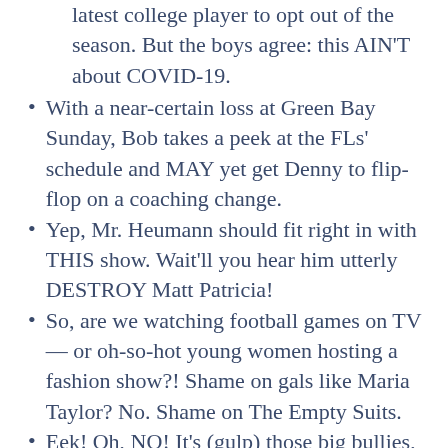latest college player to opt out of the season. But the boys agree: this AIN'T about COVID-19.
With a near-certain loss at Green Bay Sunday, Bob takes a peek at the FLs' schedule and MAY yet get Denny to flip-flop on a coaching change.
Yep, Mr. Heumann should fit right in with THIS show. Wait'll you hear him utterly DESTROY Matt Patricia!
So, are we watching football games on TV — or oh-so-hot young women hosting a fashion show?! Shame on gals like Maria Taylor? No. Shame on The Empty Suits.
Eek! Oh, NO! It's (gulp) those big bullies, the Cleveland Indians, licking their chops over the Tigers series this weekend — but all is NOT lost for the future.